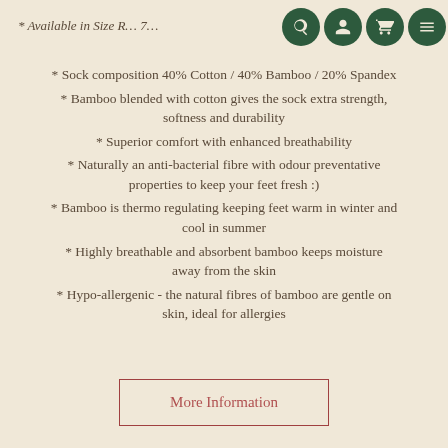* Available in Size R... 7...
* Sock composition 40% Cotton / 40% Bamboo / 20% Spandex
* Bamboo blended with cotton gives the sock extra strength, softness and durability
* Superior comfort with enhanced breathability
* Naturally an anti-bacterial fibre with odour preventative properties to keep your feet fresh :)
* Bamboo is thermo regulating keeping feet warm in winter and cool in summer
* Highly breathable and absorbent bamboo keeps moisture away from the skin
* Hypo-allergenic - the natural fibres of bamboo are gentle on skin, ideal for allergies
More Information